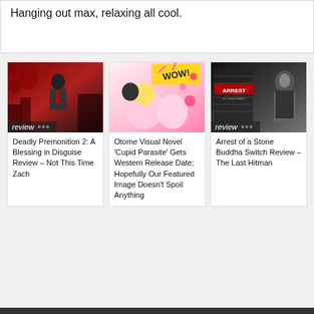Hanging out max, relaxing all cool.
[Figure (photo): Card image for Deadly Premonition 2 with 'review' badge, dark red background with character]
Deadly Premonition 2: A Blessing in Disguise Review – Not This Time Zach
[Figure (photo): Card image for Otome Visual Novel Cupid Parasite, pink/colorful manga-style artwork]
Otome Visual Novel 'Cupid Parasite' Gets Western Release Date; Hopefully Our Featured Image Doesn't Spoil Anything
[Figure (photo): Card image for Arrest of a Stone Buddha with 'review' badge, dark noir style]
Arrest of a Stone Buddha Switch Review – The Last Hitman